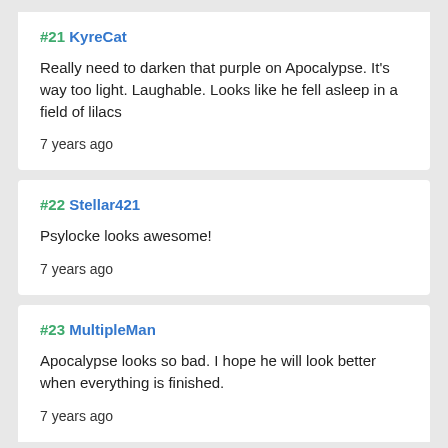#21 KyreCat
Really need to darken that purple on Apocalypse. It's way too light. Laughable. Looks like he fell asleep in a field of lilacs
7 years ago
#22 Stellar421
Psylocke looks awesome!
7 years ago
#23 MultipleMan
Apocalypse looks so bad. I hope he will look better when everything is finished.
7 years ago